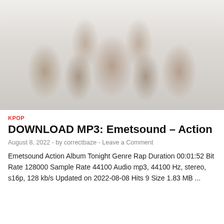[Figure (photo): Group photo of approximately 7 people dressed in white clothing, posed together against a light/white background. Some wearing sunglasses.]
KPOP
DOWNLOAD MP3: Emetsound – Action
August 8, 2022  -  by correctbaze  -  Leave a Comment
Emetsound Action Album Tonight Genre Rap Duration 00:01:52 Bit Rate 128000 Sample Rate 44100 Audio mp3, 44100 Hz, stereo, s16p, 128 kb/s Updated on 2022-08-08 Hits 9 Size 1.83 MB ...